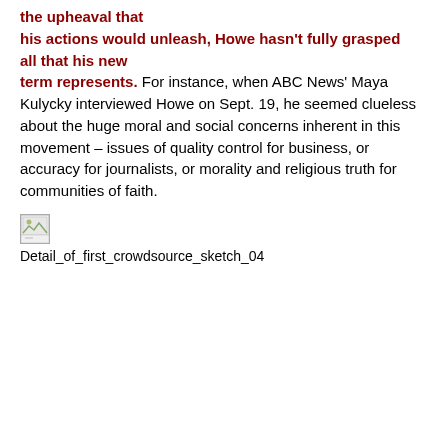the upheaval that his actions would unleash, Howe hasn't fully grasped all that his new term represents. For instance, when ABC News' Maya Kulycky interviewed Howe on Sept. 19, he seemed clueless about the huge moral and social concerns inherent in this movement – issues of quality control for business, or accuracy for journalists, or morality and religious truth for communities of faith.
[Figure (illustration): Broken image placeholder with filename label: Detail_of_first_crowdsource_sketch_04]